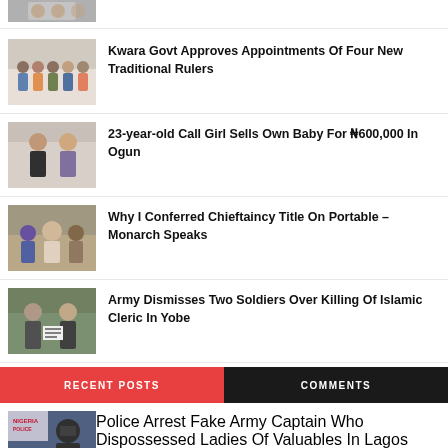[Figure (photo): Partial news item photo at top, cropped]
[Figure (photo): Group of people in formal attire - Kwara Govt story]
Kwara Govt Approves Appointments Of Four New Traditional Rulers
[Figure (photo): Two people standing - Call Girl story]
23-year-old Call Girl Sells Own Baby For N600,000 In Ogun
[Figure (photo): Crowd scene - Portable chieftaincy story]
Why I Conferred Chieftaincy Title On Portable – Monarch Speaks
[Figure (photo): Soldiers with sign - Army dismisses story]
Army Dismisses Two Soldiers Over Killing Of Islamic Cleric In Yobe
RECENT POSTS
COMMENTS
[Figure (photo): Police officer in riot gear - Police Arrest story]
Police Arrest Fake Army Captain Who Dispossessed Ladies Of Valuables In Lagos
Kwara Reporters   Aug 28, 2022